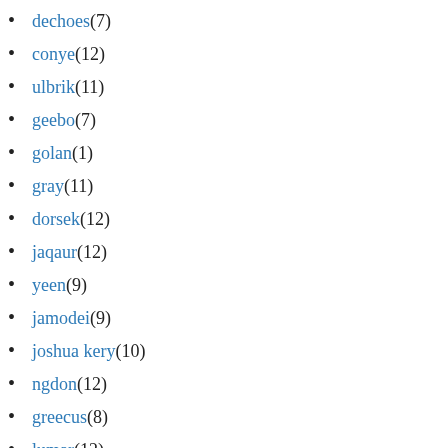dechoes (7)
conye (12)
ulbrik (11)
geebo (7)
golan (1)
gray (11)
dorsek (12)
jaqaur (12)
yeen (9)
jamodei (9)
joshua kery (10)
ngdon (12)
greecus (8)
lumar (12)
sheep (13)
sjang (8)